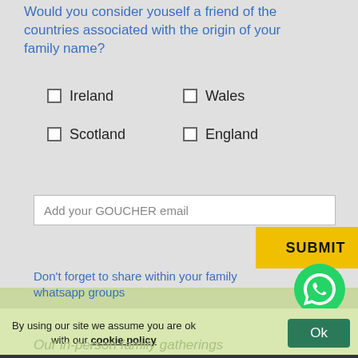Would you consider youself a friend of the countries associated with the origin of your family name?
Ireland
Wales
Scotland
England
Add your GOUCHER email
SUBMIT
Don't forget to share within your family whatsapp groups
[Figure (logo): WhatsApp green phone icon]
By using our site we assume you are ok with our cookie policy
Ok
Our in-person family gatherings